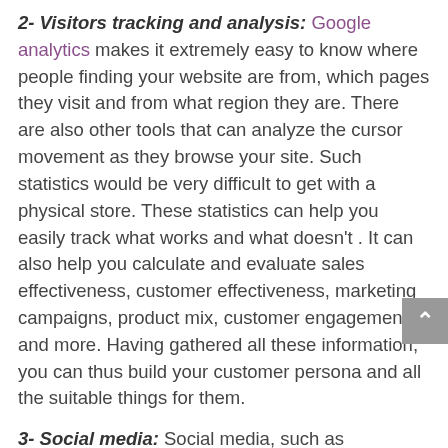2- Visitors tracking and analysis: Google analytics makes it extremely easy to know where people finding your website are from, which pages they visit and from what region they are. There are also other tools that can analyze the cursor movement as they browse your site. Such statistics would be very difficult to get with a physical store. These statistics can help you easily track what works and what doesn't . It can also help you calculate and evaluate sales effectiveness, customer effectiveness, marketing campaigns, product mix, customer engagement and more. Having gathered all these information, you can thus build your customer persona and all the suitable things for them.
3- Social media: Social media, such as Facebook, Twitter, Pinterest, LinkedIn and others, have now made it possible for everyone to express their feelings and recommend products and services to others. You can also use social media for your marketing campaigns and to promote your products for free.